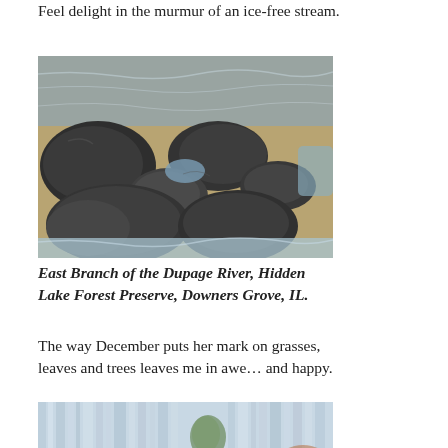Feel delight in the murmur of an ice-free stream.
[Figure (photo): Rocky stream with flowing water, East Branch of the Dupage River at Hidden Lake Forest Preserve, Downers Grove, IL.]
East Branch of the Dupage River, Hidden Lake Forest Preserve, Downers Grove, IL.
The way December puts her mark on grasses, leaves and trees leaves me in awe… and happy.
[Figure (photo): Close-up of icy or frost-covered surface, partially visible at bottom of page.]